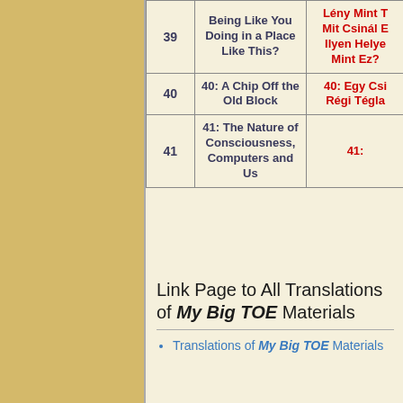| # | English Title | Hungarian Title |
| --- | --- | --- |
| 39 | Being Like You Doing in a Place Like This? | Lény Mint T... Mit Csinál E... Ilyen Helye... Mint Ez? |
| 40 | 40: A Chip Off the Old Block | 40: Egy Csi... Régi Tégla... |
| 41 | 41: The Nature of Consciousness, Computers and Us | 41: |
Link Page to All Translations of My Big TOE Materials
Translations of My Big TOE Materials